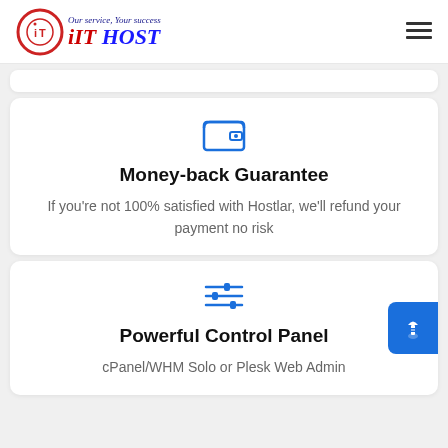iIT HOST — Our service, Your success
[Figure (illustration): Partial white card visible at top]
[Figure (illustration): Wallet/purse icon in blue]
Money-back Guarantee
If you're not 100% satisfied with Hostlar, we'll refund your payment no risk
[Figure (illustration): Sliders/control panel icon in blue]
Powerful Control Panel
cPanel/WHM Solo or Plesk Web Admin